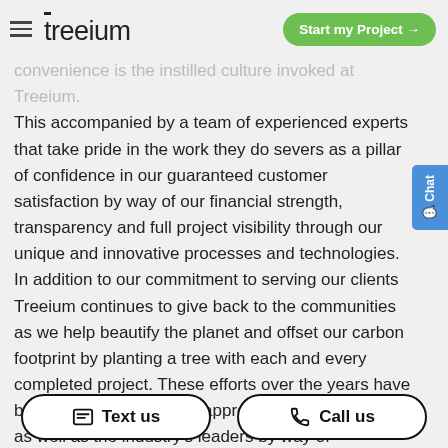treeium | Start my Project →
convenience is the instilled culture invoked at Treeium. This accompanied by a team of experienced experts that take pride in the work they do severs as a pillar of confidence in our guaranteed customer satisfaction by way of our financial strength, transparency and full project visibility through our unique and innovative processes and technologies. In addition to our commitment to serving our clients Treeium continues to give back to the communities as we help beautify the planet and offset our carbon footprint by planting a tree with each and every completed project. These efforts over the years have been acknowledged and appreciated by our peers as well as the industry's leaders by way of multiple Awards and Achievements in meriment for excellence in home improvement and...